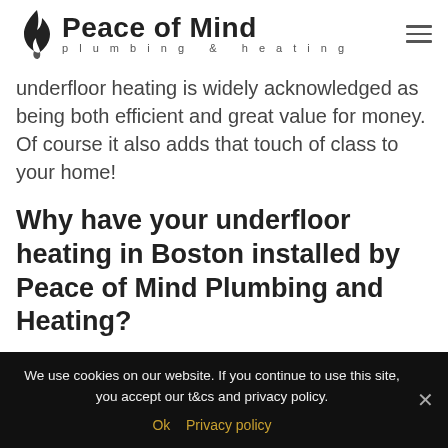Peace of Mind plumbing & heating
underfloor heating is widely acknowledged as being both efficient and great value for money. Of course it also adds that touch of class to your home!
Why have your underfloor heating in Boston installed by Peace of Mind Plumbing and Heating?
We use cookies on our website. If you continue to use this site, you accept our t&cs and privacy policy.
Ok   Privacy policy